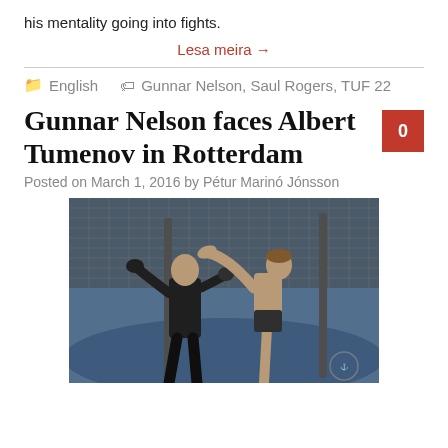his mentality going into fights.
Lesa meira →
English   Gunnar Nelson, Saul Rogers, TUF 22
Gunnar Nelson faces Albert Tumenov in Rotterdam
Posted on March 1, 2016 by Pétur Marinó Jónsson
[Figure (photo): Two MMA fighters in an octagon cage. One fighter is delivering a high kick to the other's head. The setting is an MMA training or competition venue with cage fencing visible in the background.]